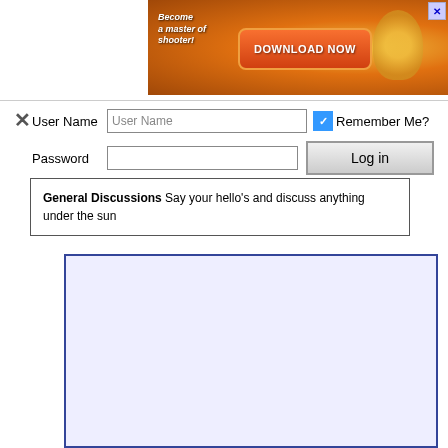[Figure (screenshot): Advertisement banner with orange/gold background showing 'Become a master of shooter!' text, 'DOWNLOAD NOW' button, and a close X button in top right]
× User Name [User Name input] ☑ Remember Me?  Password [password input] [Log in button]
General Discussions Say your hello's and discuss anything under the sun
[Figure (screenshot): Light lavender/blue empty content box with dark blue border]